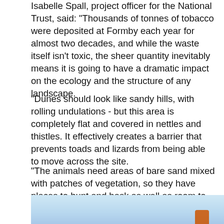Isabelle Spall, project officer for the National Trust, said: "Thousands of tonnes of tobacco were deposited at Formby each year for almost two decades, and while the waste itself isn't toxic, the sheer quantity inevitably means it is going to have a dramatic impact on the ecology and the structure of any landscape.
"Dunes should look like sandy hills, with rolling undulations - but this area is completely flat and covered in nettles and thistles. It effectively creates a barrier that prevents toads and lizards from being able to move across the site.
"The animals need areas of bare sand mixed with patches of vegetation, so they have places to hunt and bask as well as room to hibernate, and for lizards, somewhere to lay eggs."
[Figure (photo): Partial photograph showing a light blue sky at the top and the beginning of a landscape scene below, with an orange-brown object visible at the bottom right edge.]